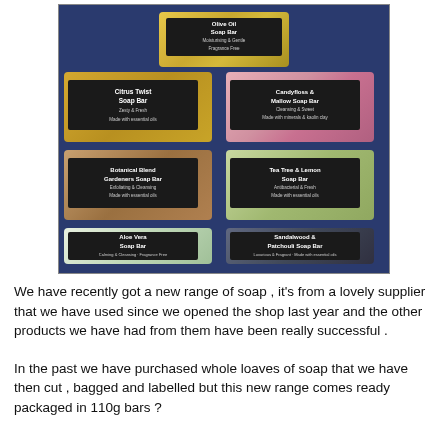[Figure (photo): Photo of multiple artisan soap bars with kraft paper labels on a dark blue background. Soaps shown: Olive Oil Soap Bar (top center), Citrus Twist Soap Bar (middle left), Candyfloss & Mallow Soap Bar (middle right), Botanical Blend Gardeners Soap Bar (lower left), Tea Tree & Lemon Soap Bar (lower right), Aloe Vera Soap Bar (bottom left), Sandalwood & Patchouli Soap Bar (bottom right).]
We have recently got a new range of soap , it's from a lovely supplier that we have used since we opened the shop last year and the other products we have had from them have been really successful .
In the past we have purchased whole loaves of soap that we have then cut , bagged and labelled but this new range comes ready packaged in 110g bars ?